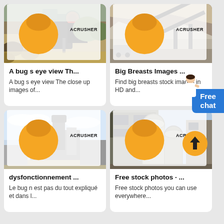[Figure (photo): Industrial rock crusher machinery with ACRUSHER watermark logo]
A bug s eye view Th...
A bug s eye view The close up images of...
[Figure (photo): Quarry conveyor belt and mining equipment with ACRUSHER watermark logo]
Big Breasts Images ...
Find big breasts stock images in HD and...
[Figure (photo): Large industrial processing plant machinery with ACRUSHER watermark logo]
dysfonctionnement ...
Le bug n est pas du tout expliqué et dans l...
[Figure (photo): Industrial building with large cylindrical pipes/ducts with ACRUSHER watermark logo and orange circle button]
Free stock photos · ...
Free stock photos you can use everywhere...